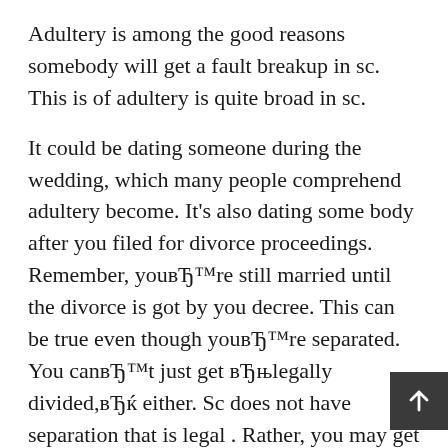Adultery is among the good reasons somebody will get a fault breakup in sc. This is of adultery is quite broad in sc.
It could be dating someone during the wedding, which many people comprehend adultery become. It’s also dating some body after you filed for divorce proceedings. Remember, you’re still married until the divorce is got by you decree. This can be true even though you’re separated. You can’t just get ‚legally divided,” either. Sc does not have separation that is legal . Rather, you may get an ‚Order of Separate repair.”